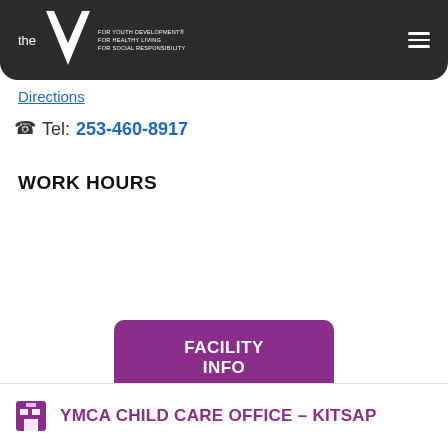YMCA header with logo, tagline, and navigation menu
Directions
Tel: 253-460-8917
WORK HOURS
| Mon - Thu: | 8am - 5pm |
| Fri: | 8am - 12pm |
| Sat - Sun: | closed |
FACILITY INFO
YMCA CHILD CARE OFFICE – KITSAP